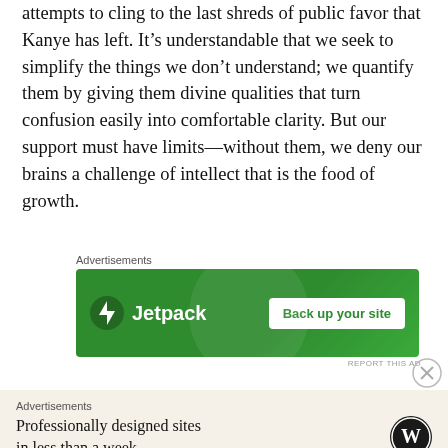attempts to cling to the last shreds of public favor that Kanye has left. It’s understandable that we seek to simplify the things we don’t understand; we quantify them by giving them divine qualities that turn confusion easily into comfortable clarity. But our support must have limits—without them, we deny our brains a challenge of intellect that is the food of growth.
Advertisements
[Figure (screenshot): Jetpack advertisement banner with green background showing Jetpack logo and 'Back up your site' button]
Advertisements
[Figure (screenshot): WordPress advertisement banner with beige background showing 'Professionally designed sites in less than a week' and WordPress logo]